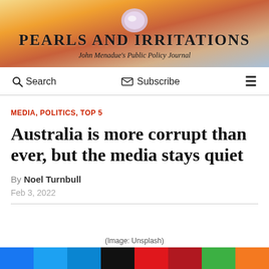[Figure (illustration): Pearls and Irritations website header banner with golden/orange/sunset gradient background and pearl shell graphic in center. Title reads 'PEARLS AND IRRITATIONS' and subtitle reads 'John Menadue's Public Policy Journal']
PEARLS AND IRRITATIONS
John Menadue's Public Policy Journal
Search   Subscribe   ☰
MEDIA, POLITICS, TOP 5
Australia is more corrupt than ever, but the media stays quiet
By Noel Turnbull
Feb 3, 2022
(Image: Unsplash)